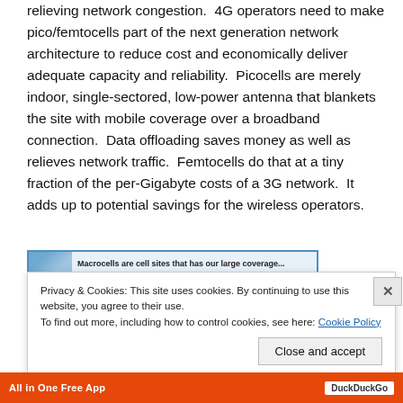relieving network congestion.  4G operators need to make pico/femtocells part of the next generation network architecture to reduce cost and economically deliver adequate capacity and reliability.  Picocells are merely indoor, single-sectored, low-power antenna that blankets the site with mobile coverage over a broadband connection.  Data offloading saves money as well as relieves network traffic.  Femtocells do that at a tiny fraction of the per-Gigabyte costs of a 3G network.  It adds up to potential savings for the wireless operators.
[Figure (screenshot): Partial screenshot of a webpage with blue border and thumbnail image on the left, with bold text partially visible]
Privacy & Cookies: This site uses cookies. By continuing to use this website, you agree to their use.
To find out more, including how to control cookies, see here: Cookie Policy